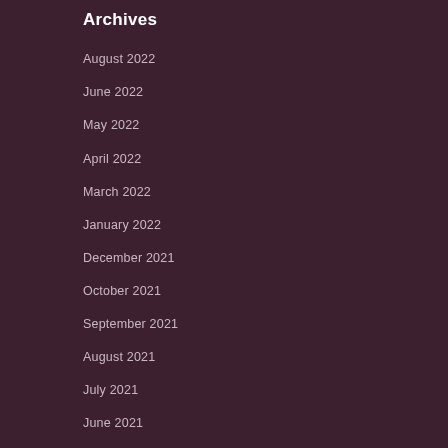Archives
August 2022
June 2022
May 2022
April 2022
March 2022
January 2022
December 2021
October 2021
September 2021
August 2021
July 2021
June 2021